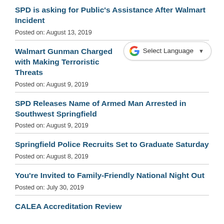SPD is asking for Public's Assistance After Walmart Incident
Posted on: August 13, 2019
Walmart Gunman Charged with Making Terroristic Threats
Posted on: August 9, 2019
[Figure (other): Google Translate widget showing 'Select Language' with dropdown arrow]
SPD Releases Name of Armed Man Arrested in Southwest Springfield
Posted on: August 9, 2019
Springfield Police Recruits Set to Graduate Saturday
Posted on: August 8, 2019
You're Invited to Family-Friendly National Night Out
Posted on: July 30, 2019
CALEA Accreditation Review